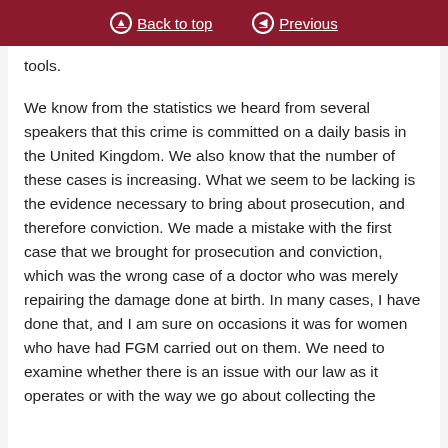Back to top | Previous
tools.
We know from the statistics we heard from several speakers that this crime is committed on a daily basis in the United Kingdom. We also know that the number of these cases is increasing. What we seem to be lacking is the evidence necessary to bring about prosecution, and therefore conviction. We made a mistake with the first case that we brought for prosecution and conviction, which was the wrong case of a doctor who was merely repairing the damage done at birth. In many cases, I have done that, and I am sure on occasions it was for women who have had FGM carried out on them. We need to examine whether there is an issue with our law as it operates or with the way we go about collecting the